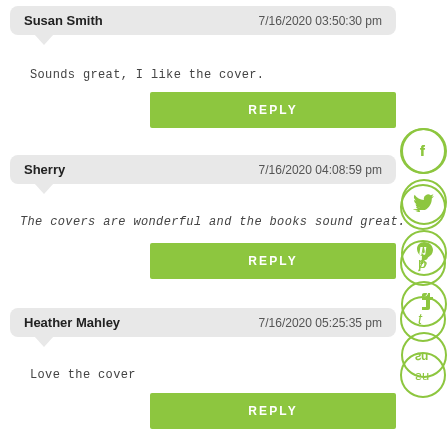Susan Smith   7/16/2020 03:50:30 pm
Sounds great, I like the cover.
REPLY
Sherry   7/16/2020 04:08:59 pm
The covers are wonderful and the books sound great.
REPLY
Heather Mahley   7/16/2020 05:25:35 pm
Love the cover
REPLY